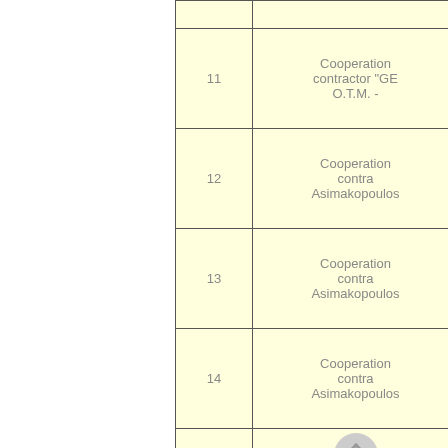| # | Description |
| --- | --- |
|  |  |
| 11 | Cooperation contractor "GE O.T.M. - |
| 12 | Cooperation contra Asimakopoulos |
| 13 | Cooperation contra Asimakopoulos |
| 14 | Cooperation contra Asimakopoulos |
|  |  |